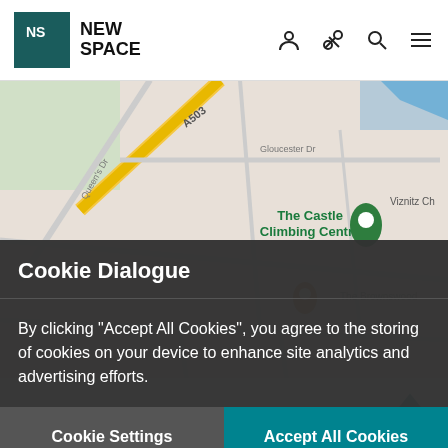[Figure (logo): New Space logo - teal square with NS letters and brand name NEW SPACE]
[Figure (screenshot): Google Maps view showing The Castle Climbing Centre area with streets A503, Queen's Dr, Gloucester Dr, and nearby locations including Viznitz Ch, The Brownswood, Beam, New Park, Clissold Leisure Centre]
Cookie Dialogue
By clicking "Accept All Cookies", you agree to the storing of cookies on your device to enhance site analytics and advertising efforts.
Cookie Settings
Accept All Cookies
Property Images